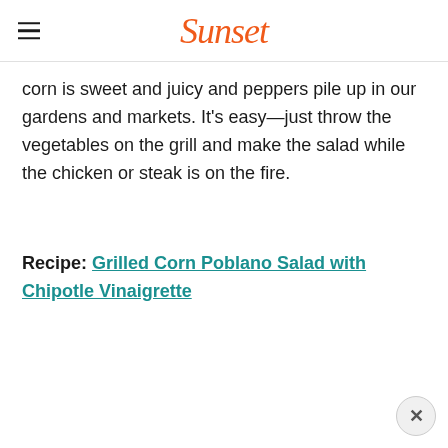Sunset
corn is sweet and juicy and peppers pile up in our gardens and markets. It's easy—just throw the vegetables on the grill and make the salad while the chicken or steak is on the fire.
Recipe: Grilled Corn Poblano Salad with Chipotle Vinaigrette